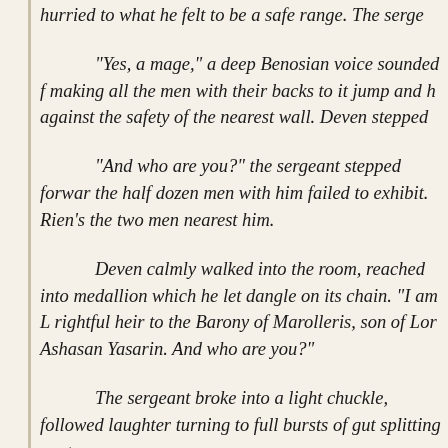hurried to what he felt to be a safe range. The serge
“Yes, a mage,” a deep Benosian voice sounded f making all the men with their backs to it jump and h against the safety of the nearest wall. Deven stepped
“And who are you?” the sergeant stepped forwar the half dozen men with him failed to exhibit. Rien’s the two men nearest him.
Deven calmly walked into the room, reached into medallion which he let dangle on its chain. “I am L rightful heir to the Barony of Marolleris, son of Lor Ashasan Yasarin. And who are you?”
The sergeant broke into a light chuckle, followed laughter turning to full bursts of gut splitting conten